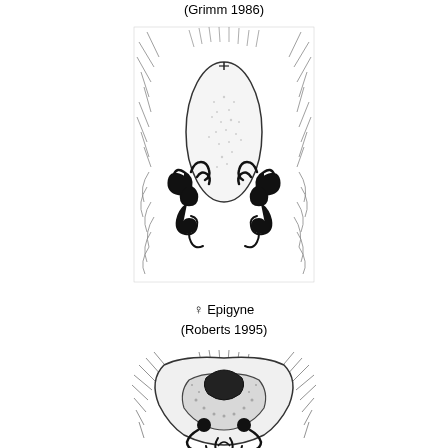(Grimm 1986)
[Figure (illustration): Scientific illustration of a spider epigyne (female reproductive structure), showing detailed anatomical drawing with curved sclerotized structures and surrounding hair-like setae, viewed ventrally. Style: black and white pen drawing.]
♀ Epigyne
(Roberts 1995)
[Figure (illustration): Scientific illustration of a spider epigyne (female reproductive structure) from a different reference, showing a wider, more open structure with sclerotized median septum, paired lateral lobes, and surrounding setae. Black and white pen drawing, viewed ventrally.]